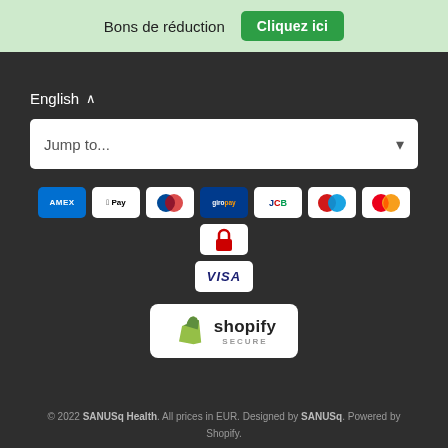Bons de réduction  Cliquez ici
English ∧
Jump to...
[Figure (other): Row of payment method icons: American Express, Apple Pay, Diners Club, Giropay, JCB, Maestro, Mastercard, a lock/security icon, and below them VISA]
[Figure (logo): Shopify Secure badge with green shopping bag logo, shopify text and SECURE label]
© 2022 SANUSq Health. All prices in EUR. Designed by SANUSq. Powered by Shopify.